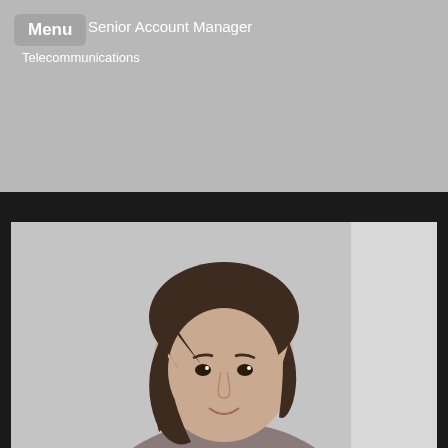Menu
Senior Account Manager
Telecommunications
Show more
[Figure (photo): Portrait photo of a young woman with short dark brown hair, smiling slightly, photographed against a light gray background]